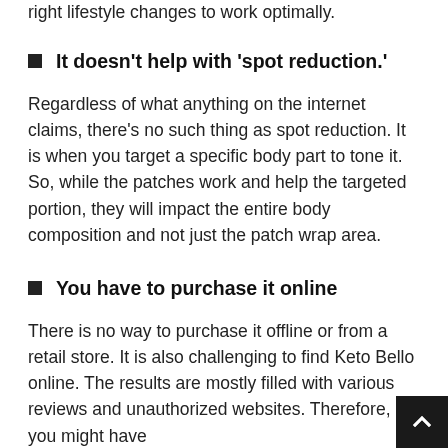right lifestyle changes to work optimally.
It doesn't help with 'spot reduction.'
Regardless of what anything on the internet claims, there's no such thing as spot reduction. It is when you target a specific body part to tone it. So, while the patches work and help the targeted portion, they will impact the entire body composition and not just the patch wrap area.
You have to purchase it online
There is no way to purchase it offline or from a retail store. It is also challenging to find Keto Bello online. The results are mostly filled with various reviews and unauthorized websites. Therefore, you might have